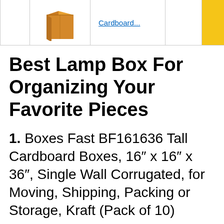[Figure (screenshot): Top strip showing a cardboard box image and a link labeled 'Cardboard...' across table cells, with a yellow cell at the right edge]
Best Lamp Box For Organizing Your Favorite Pieces
1. Boxes Fast BF161636 Tall Cardboard Boxes, 16″ x 16″ x 36″, Single Wall Corrugated, for Moving, Shipping, Packing or Storage, Kraft (Pack of 10)